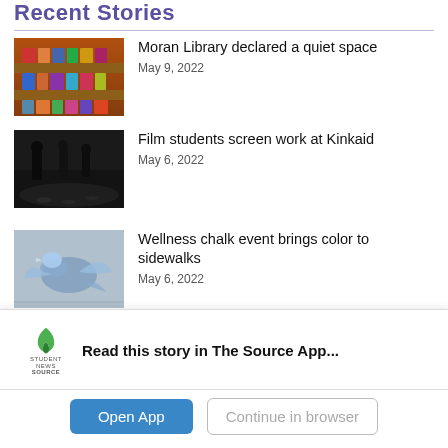Recent Stories
[Figure (photo): Library bookshelf with colorful book covers on wooden shelves]
Moran Library declared a quiet space
May 9, 2022
[Figure (photo): Dark silhouettes of people walking on a reflective floor]
Film students screen work at Kinkaid
May 6, 2022
[Figure (photo): Chalk art on sidewalk in blue and white, abstract figure]
Wellness chalk event brings color to sidewalks
May 6, 2022
[Figure (photo): Person speaking at podium with projection light overhead in dark room]
Dr. Jatin Vyas named 2022 Papadopoulos Fellow
May 6, 2022
Read this story in The Source App...
Open App
Continue in browser